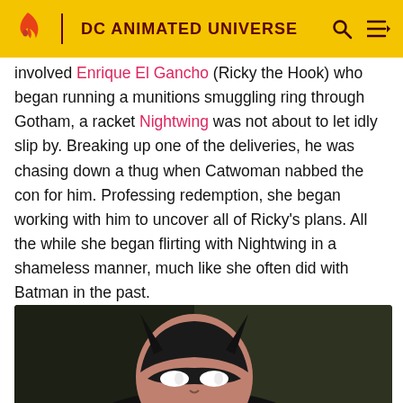DC ANIMATED UNIVERSE
involved Enrique El Gancho (Ricky the Hook) who began running a munitions smuggling ring through Gotham, a racket Nightwing was not about to let idly slip by. Breaking up one of the deliveries, he was chasing down a thug when Catwoman nabbed the con for him. Professing redemption, she began working with him to uncover all of Ricky's plans. All the while she began flirting with Nightwing in a shameless manner, much like she often did with Batman in the past.
[Figure (screenshot): Animated still image showing Nightwing character in dark costume with bat-symbol mask, against a dark background.]